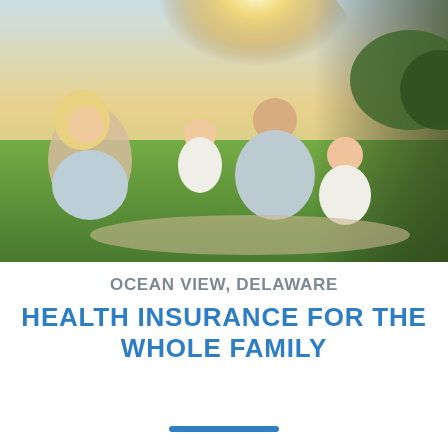[Figure (photo): A happy family of four – mother, father, and two young children – sitting outdoors on grass in bright sunlight, laughing and embracing each other.]
OCEAN VIEW, DELAWARE
HEALTH INSURANCE FOR THE WHOLE FAMILY